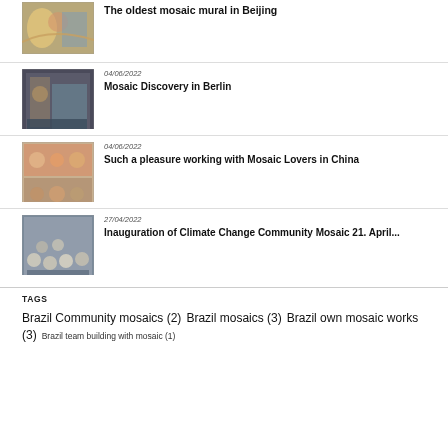[Figure (photo): Mosaic mural artwork image]
The oldest mosaic mural in Beijing
[Figure (photo): Mosaic mural in Berlin]
04/06/2022
Mosaic Discovery in Berlin
[Figure (photo): Group photo of mosaic lovers in China]
04/06/2022
Such a pleasure working with Mosaic Lovers in China
[Figure (photo): Group photo at climate change community mosaic inauguration]
27/04/2022
Inauguration of Climate Change Community Mosaic 21. April...
TAGS
Brazil Community mosaics (2) Brazil mosaics (3) Brazil own mosaic works (3) Brazil team building with mosaic (1)